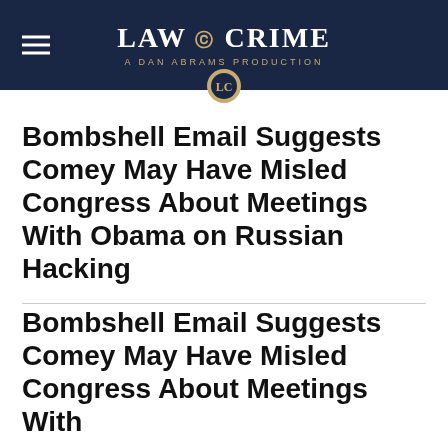LAW & CRIME — A DAN ABRAMS PRODUCTION
Bombshell Email Suggests Comey May Have Misled Congress About Meetings With Obama on Russian Hacking
Bombshell Email Suggests Comey May Have Misled Congress About Meetings With